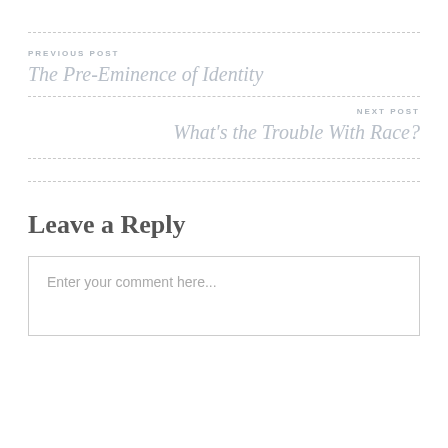PREVIOUS POST
The Pre-Eminence of Identity
NEXT POST
What's the Trouble With Race?
Leave a Reply
Enter your comment here...